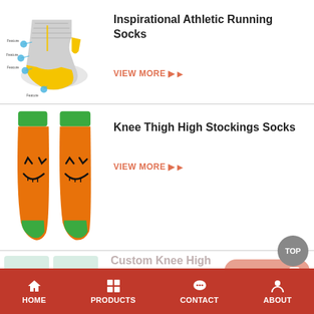[Figure (photo): Athletic running sock with yellow toe and heel, shown with feature call-out bubbles]
Inspirational Athletic Running Socks
VIEW MORE ▶
[Figure (photo): Two orange Halloween pumpkin-face knee-high stockings with green cuffs and heels, shown from back]
Knee Thigh High Stockings Socks
VIEW MORE ▶
[Figure (photo): Partial view of Custom Knee High Marathon socks product listing]
Custom Knee High Marathon socks
INQUIRY NOW
HOME  PRODUCTS  CONTACT  ABOUT